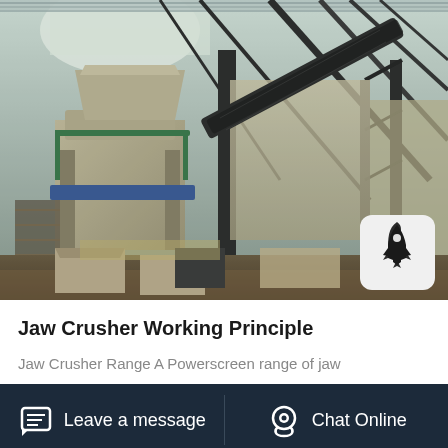[Figure (photo): Industrial jaw crusher / stone crushing plant inside a warehouse/shed, showing conveyor belts, crushing equipment, and steel framework structure]
Jaw Crusher Working Principle
Jaw Crusher Range A Powerscreen range of jaw
Leave a message  |  Chat Online